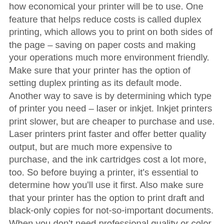how economical your printer will be to use. One feature that helps reduce costs is called duplex printing, which allows you to print on both sides of the page – saving on paper costs and making your operations much more environment friendly. Make sure that your printer has the option of setting duplex printing as its default mode. Another way to save is by determining which type of printer you need – laser or inkjet. Inkjet printers print slower, but are cheaper to purchase and use. Laser printers print faster and offer better quality output, but are much more expensive to purchase, and the ink cartridges cost a lot more, too. So before buying a printer, it's essential to determine how you'll use it first. Also make sure that your printer has the option to print draft and black-only copies for not-so-important documents. When you don't need professional quality or color prints you should have the option to enable lower quality printing, which will save on ink costs. You should also look into network printing, which lets multiple users print from a single printer. This enables you to monitor ink and paper usage better, and also eliminates the need for multiple printers in the office, saving on purchase, operation, and maintenance costs. An LCD on your printer will also help you diagnose and troubleshoot problems, as well as preview documents that are printing or in the cue. If you are looking for